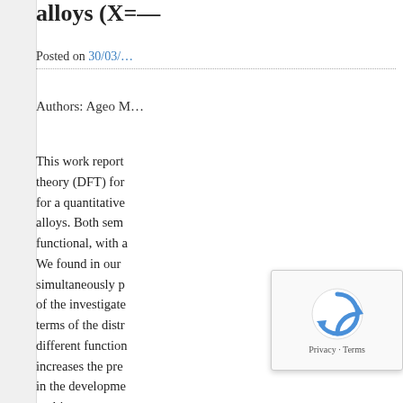alloys (X=…
Posted on 30/03/…
Authors: Ageo M…
This work reports density functional theory (DFT) for a quantitative alloys. Both sem functional, with a We found in our simultaneously p of the investigate terms of the distr different function increases the pre in the developme multicomponent
Ph… do…
Posted in N…